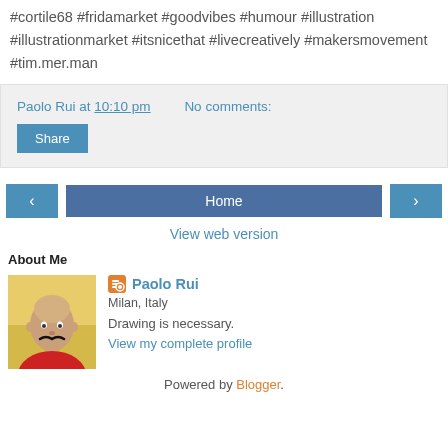#cortile68 #fridamarket #goodvibes #humour #illustration #illustrationmarket #itsnicethat #livecreatively #makersmovement #tim.mer.man
Paolo Rui at 10:10 pm   No comments:
Share
‹   Home   ›
View web version
About Me
[Figure (photo): Profile photo of Paolo Rui — bald man in red shirt with illustrated mustache]
Paolo Rui
Milan, Italy
Drawing is necessary.
View my complete profile
Powered by Blogger.